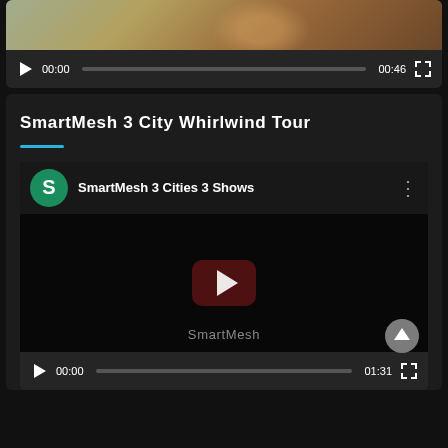[Figure (screenshot): Partial video player at top showing a cropped thumbnail with a person in a golden/brown outfit, with a control bar showing play button, time 00:00, progress bar, duration 00:46, and fullscreen button]
SmartMesh 3 City Whirlwind Tour
[Figure (screenshot): YouTube-style embedded video player showing SmartMesh 3 Cities 3 Shows channel with green S avatar, dark thumbnail with red YouTube play button and SmartMesh watermark, control bar with play button at 00:00, progress bar, duration 01:31, fullscreen button, and scroll-up circular button]